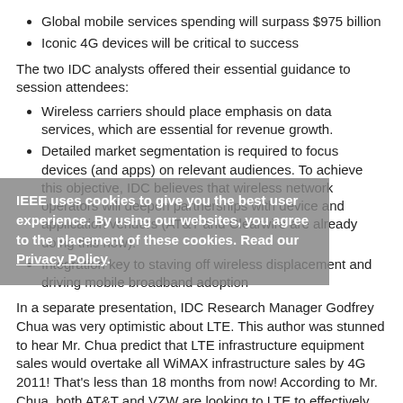Global mobile services spending will surpass $975 billion
Iconic 4G devices will be critical to success
The two IDC analysts offered their essential guidance to session attendees:
Wireless carriers should place emphasis on data services, which are essential for revenue growth.
Detailed market segmentation is required to focus devices (and apps) on relevant audiences.  To achieve this objective, IDC believes that wireless network operators will deepen partnerships with device and application vendors (AT&T and Clearwire are already doing this now).
Integration key to staving off wireless displacement and driving mobile broadband adoption
In a separate presentation, IDC Research Manager Godfrey Chua was very optimistic about LTE.  This author was stunned to hear Mr. Chua predict that LTE infrastructure equipment sales would overtake all WiMAX infrastructure sales by 4G 2011!  That's less than 18 months from now!   According to Mr. Chua, both AT&T and VZW are looking to LTE to effectively deliver high quality mobile broadband service at the lowest cost per bit possible (through the more cost efficient OFDM based modulation and multi-
IEEE uses cookies to give you the best user experience. By using our websites, you agree to the placement of these cookies. Read our Privacy Policy.